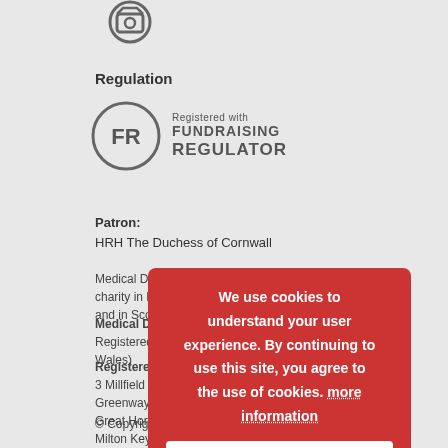[Figure (logo): Circular icon/logo at top of page]
Regulation
[Figure (logo): Fundraising Regulator logo with FR in circle, text 'Registered with FUNDRAISING REGULATOR']
Patron:
HRH The Duchess of Cornwall
Medical Detection Dogs is a registered charity in England and Wales No. 1124533 and in Scotland No. SC044434
Medical Detection Dogs - Registered Company Number (England and Wales)
Registered Office:
3 Millfield
Greenway Business Park Winslow Road
Great Horwood
Milton Keynes
MK17 0NP
© Copyright 2020
We use cookies to understand your user experience. By continuing to use this site, you agree to the use of cookies. more information
Accept